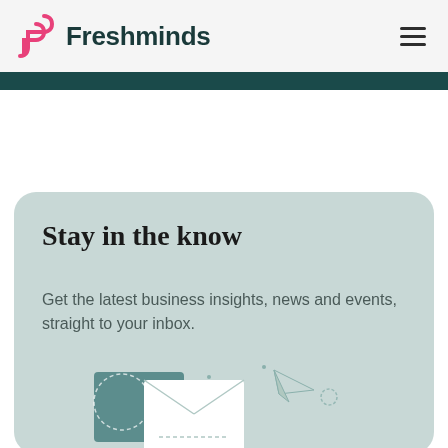Freshminds
Stay in the know
Get the latest business insights, news and events, straight to your inbox.
[Figure (illustration): Illustration of an envelope with paper airplane and circular dashed elements on a light teal background]